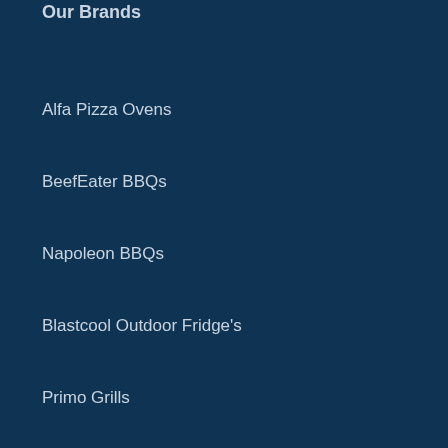Our Brands
Alfa Pizza Ovens
BeefEater BBQs
Napoleon BBQs
Blastcool Outdoor Fridge's
Primo Grills
Help & Support
Search
Help Centre